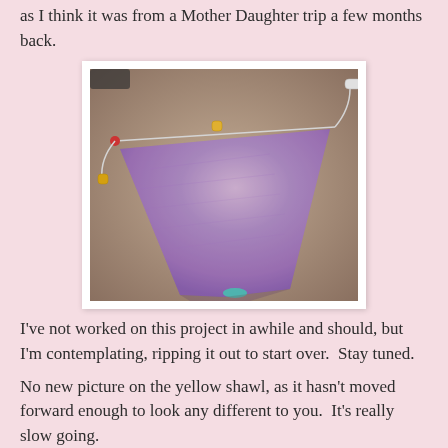as I think it was from a Mother Daughter trip a few months back.
[Figure (photo): In-progress knitted shawl in purple/lavender yarn laid flat on a tan fabric surface, with knitting needles and cable attached]
I've not worked on this project in awhile and should, but I'm contemplating, ripping it out to start over.  Stay tuned.
No new picture on the yellow shawl, as it hasn't moved forward enough to look any different to you.  It's really slow going.
[Figure (photo): Partial view of a yellow shawl in progress]